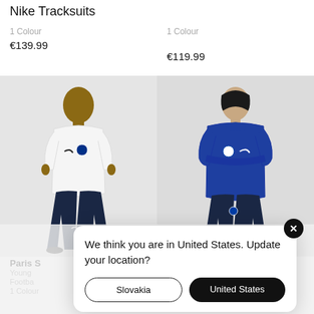Nike Tracksuits
1 Colour
€139.99
1 Colour
€119.99
[Figure (photo): Child wearing white Nike tracksuit jacket with dark navy trousers]
[Figure (photo): Child wearing blue Nike tracksuit top with dark navy trousers, arms crossed]
Paris S
Young
Footba
1 Colour
1 Colour
We think you are in United States. Update your location?
Slovakia
United States